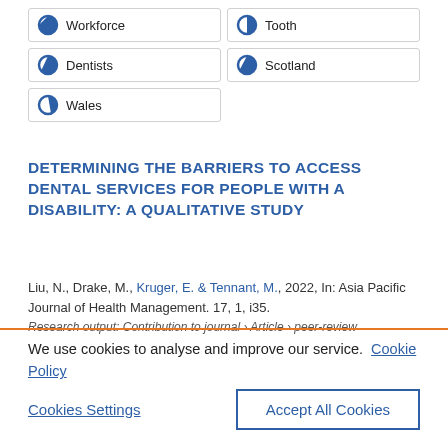Workforce
Tooth
Dentists
Scotland
Wales
DETERMINING THE BARRIERS TO ACCESS DENTAL SERVICES FOR PEOPLE WITH A DISABILITY: A QUALITATIVE STUDY
Liu, N., Drake, M., Kruger, E. & Tennant, M., 2022, In: Asia Pacific Journal of Health Management. 17, 1, i35.
Research output: Contribution to journal › Article › peer-review
We use cookies to analyse and improve our service.  Cookie Policy
Cookies Settings
Accept All Cookies